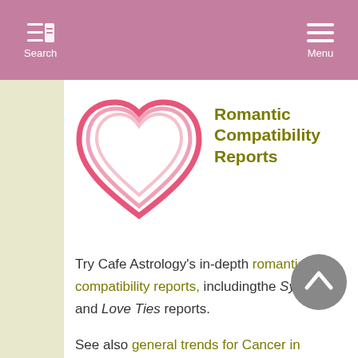Search  Menu
[Figure (illustration): Pink outlined heart logo for Romantic Compatibility Reports]
Romantic Compatibility Reports
Try Cafe Astrology’s in-depth romantic compatibility reports, includingthe Synastry and Love Ties reports.
See also general trends for Cancer in